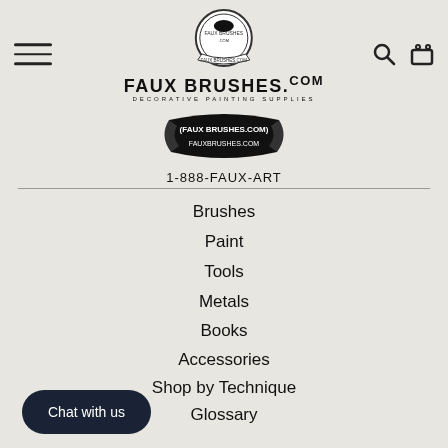[Figure (logo): FauxBrushes.com logo with banner graphic and text '1-888-FAUX-ART', decorative painting supplies header]
Brushes
Paint
Tools
Metals
Books
Accessories
Shop by Technique
Glossary
Brush Care
Terms of Service
Chat with us